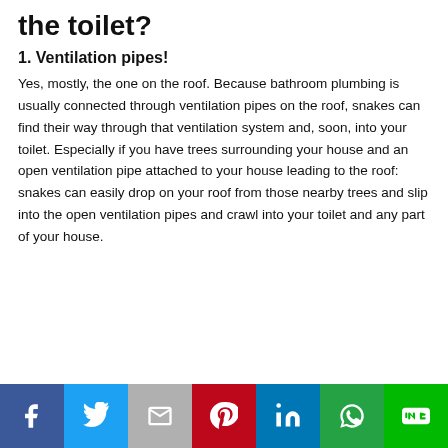the toilet?
1. Ventilation pipes!
Yes, mostly, the one on the roof. Because bathroom plumbing is usually connected through ventilation pipes on the roof, snakes can find their way through that ventilation system and, soon, into your toilet. Especially if you have trees surrounding your house and an open ventilation pipe attached to your house leading to the roof: snakes can easily drop on your roof from those nearby trees and slip into the open ventilation pipes and crawl into your toilet and any part of your house.
[Figure (infographic): Social media sharing buttons bar: Facebook, Twitter, Gmail, Pinterest, LinkedIn, WhatsApp, LINE]